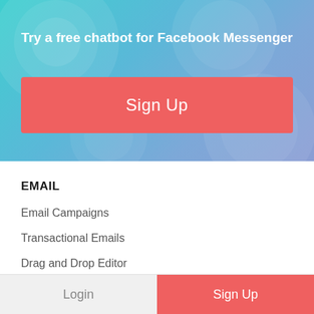[Figure (screenshot): Hero banner with teal-to-blue gradient background with decorative circles, containing a white bold headline and a red/coral Sign Up button.]
Try a free chatbot for Facebook Messenger
Sign Up
EMAIL
Email Campaigns
Transactional Emails
Drag and Drop Editor
Subscription Forms
Automation
Login  Sign Up